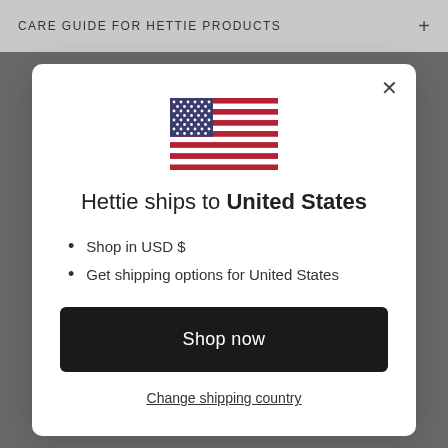CARE GUIDE FOR HETTIE PRODUCTS
[Figure (illustration): US flag icon — red and white horizontal stripes with blue canton containing white stars]
Hettie ships to United States
Shop in USD $
Get shipping options for United States
Shop now
Change shipping country